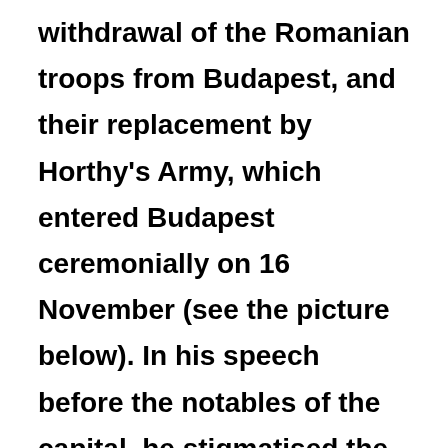withdrawal of the Romanian troops from Budapest, and their replacement by Horthy's Army, which entered Budapest ceremonially on 16 November (see the picture below). In his speech before the notables of the capital, he stigmatised the capital as a 'sinful city' that had rejected its glorious past, Holy Crown and national colours for red rags. The people hoped to heal the wounds of the war and its